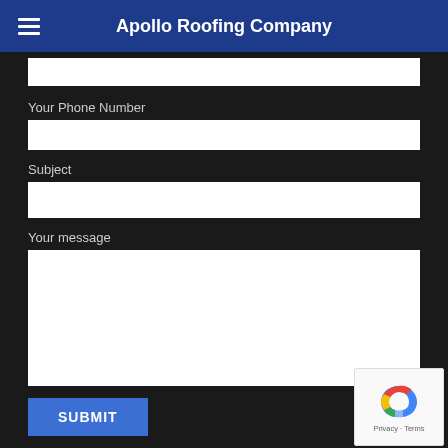Apollo Roofing Company
Your Phone Number
Subject
Your message
SUBMIT
Privacy · Terms